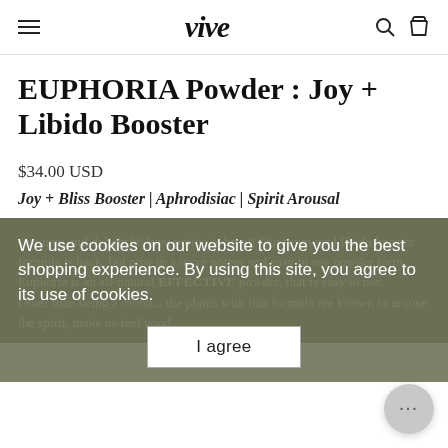vive
EUPHORIA Powder : Joy + Libido Booster
$34.00 USD
Joy + Bliss Booster | Aphrodisiac | Spirit Arousal
Our new and delightful love potion is here!! Our renowned libido... Euphoria... EFFECTIVE powder, that is easy to use.
Other than being a mood... the plants with this formula are known to arouse the spirit, make us feel good
We use cookies on our website to give you the best shopping experience. By using this site, you agree to its use of cookies.